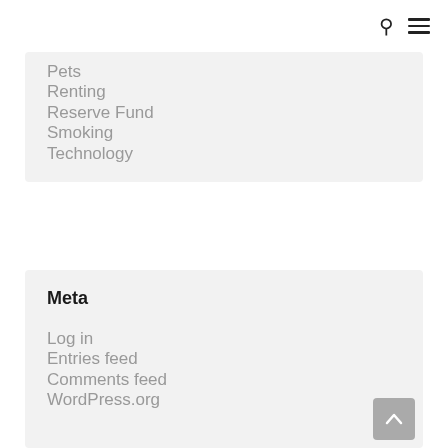🔍 ☰
Pets
Renting
Reserve Fund
Smoking
Technology
Meta
Log in
Entries feed
Comments feed
WordPress.org